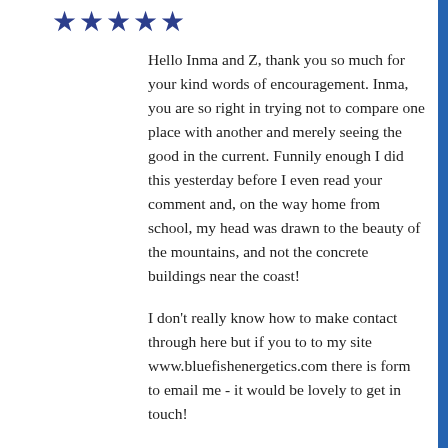★★★★★
Hello Inma and Z, thank you so much for your kind words of encouragement. Inma, you are so right in trying not to compare one place with another and merely seeing the good in the current. Funnily enough I did this yesterday before I even read your comment and, on the way home from school, my head was drawn to the beauty of the mountains, and not the concrete buildings near the coast!
I don't really know how to make contact through here but if you to to my site www.bluefishenergetics.com there is form to email me - it would be lovely to get in touch!
Thank you!